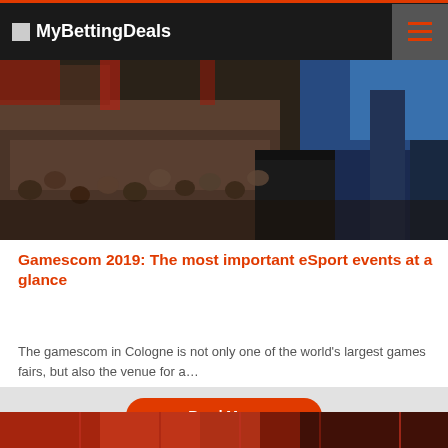MyBettingDeals
[Figure (photo): Crowd of people seated at an esports event arena with stage lighting and a presenter on stage]
Gamescom 2019: The most important eSport events at a glance
The gamescom in Cologne is not only one of the world's largest games fairs, but also the venue for a…
[Figure (photo): Second article teaser image with red/orange background suggesting an esports or gaming event]